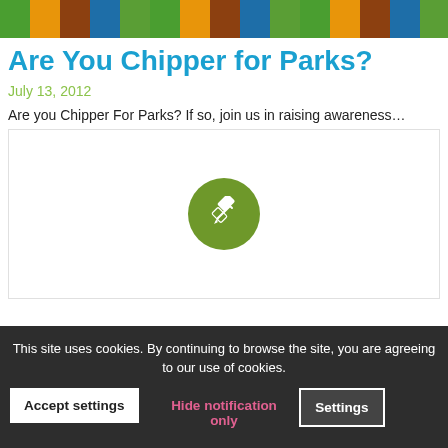[Figure (illustration): Cartoon illustration of a chipmunk character in park setting, partial crop at top]
Are You Chipper for Parks?
July 13, 2012
Are you Chipper For Parks? If so, join us in raising awareness…
[Figure (screenshot): White content box with green edit/pencil circle icon in the center]
This site uses cookies. By continuing to browse the site, you are agreeing to our use of cookies.
Accept settings | Hide notification only | Settings